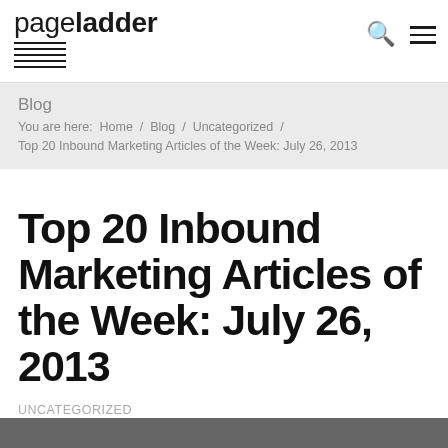pageladder
Blog
You are here:  Home  /  Blog  /  Uncategorized  /  Top 20 Inbound Marketing Articles of the Week: July 26, 2013
Top 20 Inbound Marketing Articles of the Week: July 26, 2013
UNCATEGORIZED
Tweet  Share